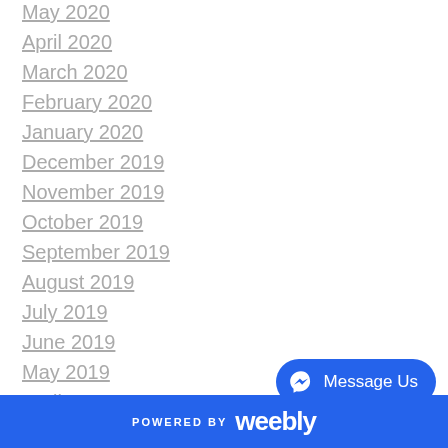May 2020
April 2020
March 2020
February 2020
January 2020
December 2019
November 2019
October 2019
September 2019
August 2019
July 2019
June 2019
May 2019
April 2019
March 2019
December 2018
November 2018
POWERED BY Weebly